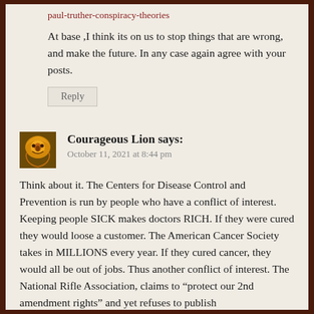paul-truther-conspiracy-theories
At base ,I think its on us to stop things that are wrong, and make the future. In any case again agree with your posts.
Reply
Courageous Lion says:
October 11, 2021 at 8:44 pm
Think about it. The Centers for Disease Control and Prevention is run by people who have a conflict of interest. Keeping people SICK makes doctors RICH. If they were cured they would loose a customer. The American Cancer Society takes in MILLIONS every year. If they cured cancer, they would all be out of jobs. Thus another conflict of interest. The National Rifle Association, claims to “protect our 2nd amendment rights” and yet refuses to publish